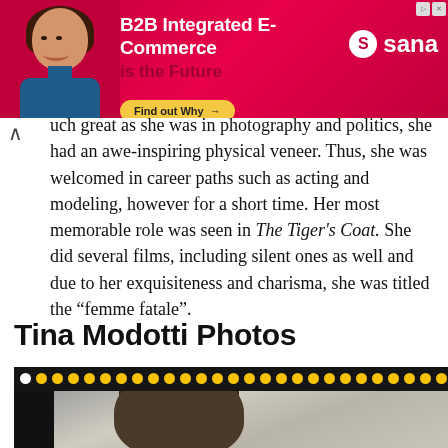[Figure (infographic): Advertisement banner for Sana B2B Integrated E-Commerce with woman smiling, red/pink gradient background, yellow 'Find out Why' button and Sana logo]
uch great as she was in photography and politics, she had an awe-inspiring physical veneer. Thus, she was welcomed in career paths such as acting and modeling, however for a short time. Her most memorable role was seen in The Tiger's Coat. She did several films, including silent ones as well and due to her exquisiteness and charisma, she was titled the “femme fatale”.
Tina Modotti Photos
[Figure (photo): Black and white photograph of Tina Modotti showing top of head with dark hair styled up, against a textured background, presented in a film strip frame with yellow and white dots across the top]